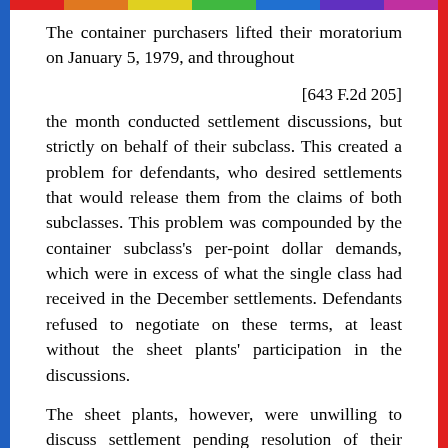The container purchasers lifted their moratorium on January 5, 1979, and throughout
[643 F.2d 205]
the month conducted settlement discussions, but strictly on behalf of their subclass. This created a problem for defendants, who desired settlements that would release them from the claims of both subclasses. This problem was compounded by the container subclass's per-point dollar demands, which were in excess of what the single class had received in the December settlements. Defendants refused to negotiate on these terms, at least without the sheet plants' participation in the discussions.
The sheet plants, however, were unwilling to discuss settlement pending resolution of their investigation into damages suffered by their class. In order to break the resulting deadlock between the container class and defendants, a compromise